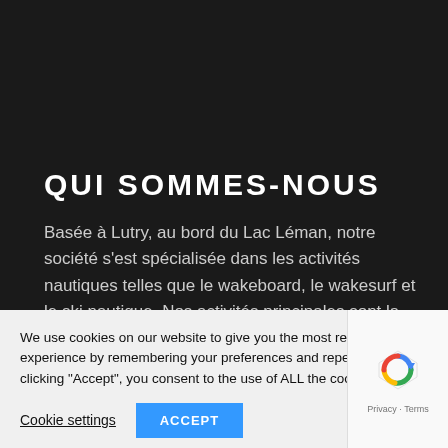QUI SOMMES-NOUS
Basée à Lutry, au bord du Lac Léman, notre société s'est spécialisée dans les activités nautiques telles que le wakeboard, le wakesurf et le ski nautique. Nos activités principales sont la vente et la location de bateaux MasterCraft en Suisse Romande
We use cookies on our website to give you the most relevant experience by remembering your preferences and repeat visits. By clicking "Accept", you consent to the use of ALL the cookies.
Cookie settings
ACCEPT